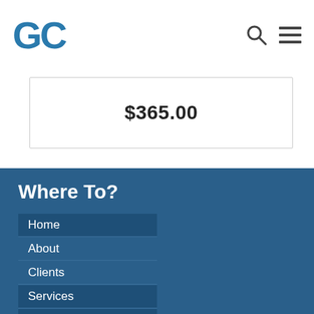GC
$365.00
Where To?
Home
About
Clients
Services
Workshops and Events
Blog
Contact Us